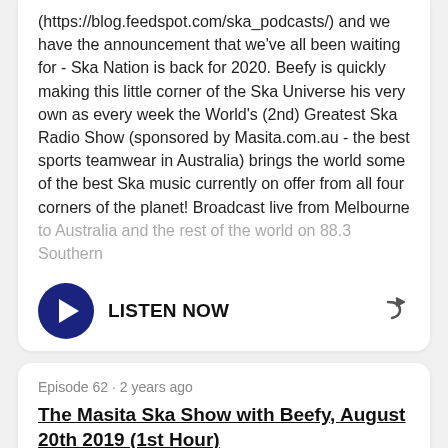(https://blog.feedspot.com/ska_podcasts/) and we have the announcement that we've all been waiting for - Ska Nation is back for 2020. Beefy is quickly making this little corner of the Ska Universe his very own as every week the World's (2nd) Greatest Ska Radio Show (sponsored by Masita.com.au - the best sports teamwear in Australia) brings the world some of the best Ska music currently on offer from all four corners of the planet! Broadcast live from Melbourne to Australia and the rest of the world on 88.3 Southern
LISTEN NOW
Episode 62 · 2 years ago
The Masita Ska Show with Beefy, August 20th 2019 (1st Hour)
It's unbelievable news that The Ska Show with Beefy is now the SECOND best Ska Podcast on the planet (https://blog.feedspot.com/ska_podcasts/) and we have the announcement that we've all been waiting